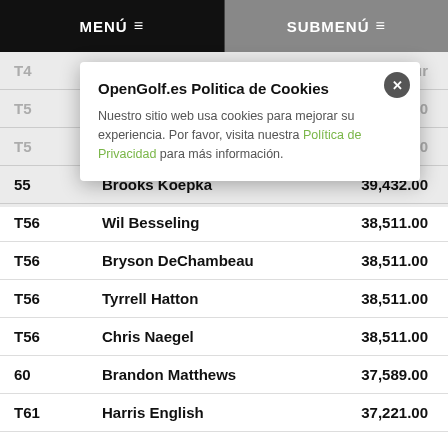MENÚ  SUBMENÚ
| Pos | Player | Prize |
| --- | --- | --- |
| T49 |  | Amateur |
| T53 |  | 40,630.00 |
| T53 | Sebastian Soderberg | 40,630.00 |
| 55 | Brooks Koepka | 39,432.00 |
| T56 | Wil Besseling | 38,511.00 |
| T56 | Bryson DeChambeau | 38,511.00 |
| T56 | Tyrrell Hatton | 38,511.00 |
| T56 | Chris Naegel | 38,511.00 |
| 60 | Brandon Matthews | 37,589.00 |
| T61 | Harris English | 37,221.00 |
[Figure (screenshot): Cookie consent modal overlay: title 'OpenGolf.es Politica de Cookies', body text about cookies policy with link to Politica de Privacidad, and an X close button.]